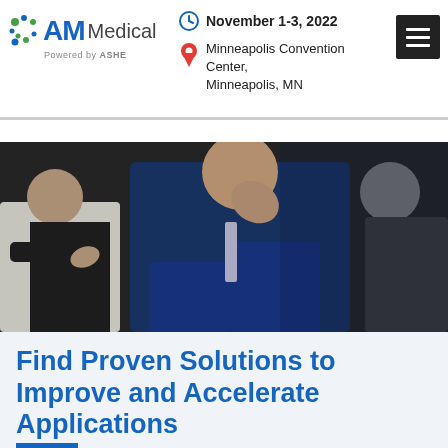AM Medical | Powered by ASME | November 1-3, 2022 | Minneapolis Convention Center, Minneapolis, MN
News
About
Contact
[Figure (photo): Conference attendees seated, one man in blue suit with hand on his head]
Find Proven Solutions to Improve and Accelerate Applications